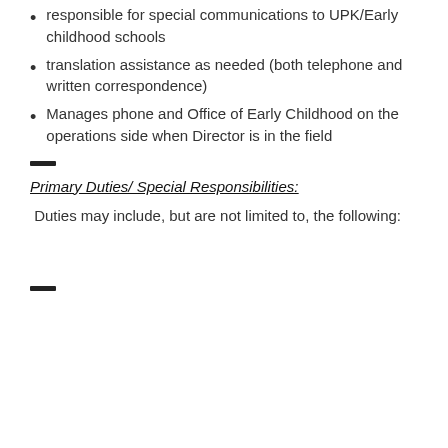responsible for special communications to UPK/Early childhood schools
translation assistance as needed (both telephone and written correspondence)
Manages phone and Office of Early Childhood on the operations side when Director is in the field
Primary Duties/ Special Responsibilities:
Duties may include, but are not limited to, the following: